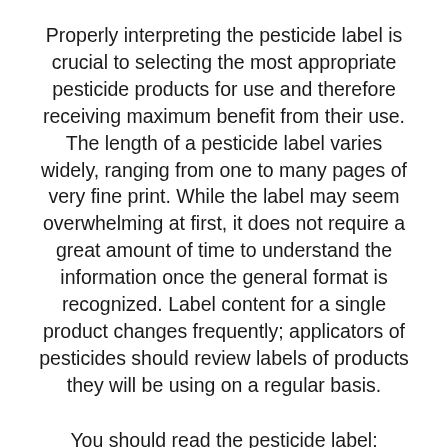Properly interpreting the pesticide label is crucial to selecting the most appropriate pesticide products for use and therefore receiving maximum benefit from their use. The length of a pesticide label varies widely, ranging from one to many pages of very fine print. While the label may seem overwhelming at first, it does not require a great amount of time to understand the information once the general format is recognized. Label content for a single product changes frequently; applicators of pesticides should review labels of products they will be using on a regular basis.
You should read the pesticide label: